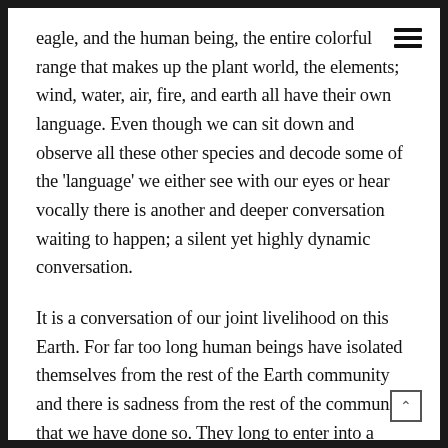eagle, and the human being, the entire colorful range that makes up the plant world, the elements; wind, water, air, fire, and earth all have their own language. Even though we can sit down and observe all these other species and decode some of the 'language' we either see with our eyes or hear vocally there is another and deeper conversation waiting to happen; a silent yet highly dynamic conversation.
It is a conversation of our joint livelihood on this Earth. For far too long human beings have isolated themselves from the rest of the Earth community and there is sadness from the rest of the community that we have done so. They long to enter into a responsible and mature conversation with us. A conversation where the wellbeing of the whole is taken into account,